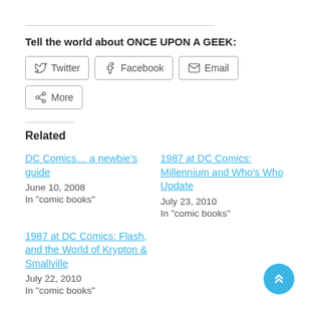Tell the world about ONCE UPON A GEEK:
[Figure (infographic): Share buttons: Twitter, Facebook, Email, More]
Related
DC Comics… a newbie's guide
June 10, 2008
In "comic books"
1987 at DC Comics: Millennium and Who's Who Update
July 23, 2010
In "comic books"
1987 at DC Comics: Flash, and the World of Krypton & Smallville
July 22, 2010
In "comic books"